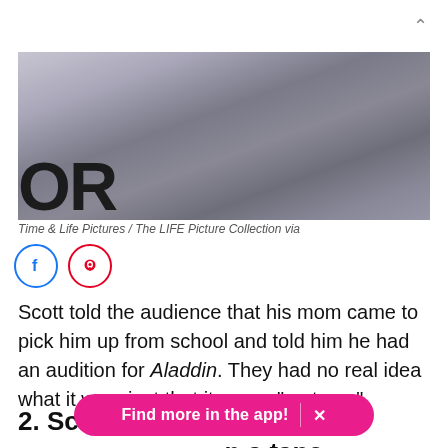[Figure (photo): Partial photo showing someone in a grey knit vest over a light shirt, with partial large text visible at the bottom left reading 'OR']
Time & Life Pictures / The LIFE Picture Collection via
[Figure (other): Social sharing icons: Facebook (blue circle) and Pinterest (red circle)]
Scott told the audience that his mom came to pick him up from school and told him he had an audition for Aladdin. They had no real idea what it was, just that it was a "cartoon."
2. Scott re[corded himself on a tape
Find more in the app!